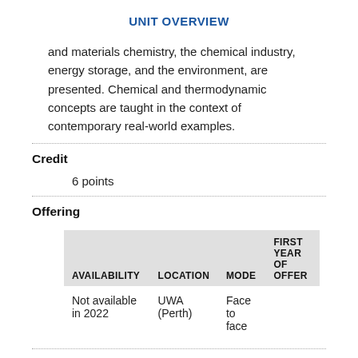UNIT OVERVIEW
and materials chemistry, the chemical industry, energy storage, and the environment, are presented. Chemical and thermodynamic concepts are taught in the context of contemporary real-world examples.
Credit
6 points
Offering
| AVAILABILITY | LOCATION | MODE | FIRST YEAR OF OFFER |
| --- | --- | --- | --- |
| Not available in 2022 | UWA (Perth) | Face to face |  |